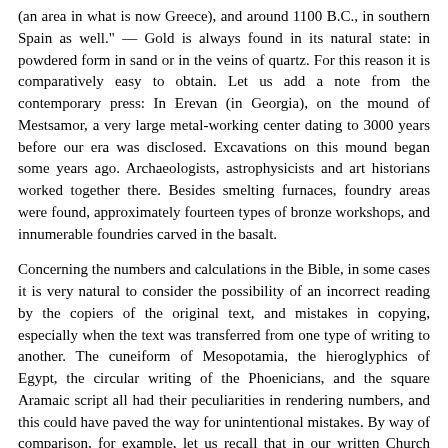(an area in what is now Greece), and around 1100 B.C., in southern Spain as well." — Gold is always found in its natural state: in powdered form in sand or in the veins of quartz. For this reason it is comparatively easy to obtain. Let us add a note from the contemporary press: In Erevan (in Georgia), on the mound of Mestsamor, a very large metal-working center dating to 3000 years before our era was disclosed. Excavations on this mound began some years ago. Archaeologists, astrophysicists and art historians worked together there. Besides smelting furnaces, foundry areas were found, approximately fourteen types of bronze workshops, and innumerable foundries carved in the basalt.
Concerning the numbers and calculations in the Bible, in some cases it is very natural to consider the possibility of an incorrect reading by the copiers of the original text, and mistakes in copying, especially when the text was transferred from one type of writing to another. The cuneiform of Mesopotamia, the hieroglyphics of Egypt, the circular writing of the Phoenicians, and the square Aramaic script all had their peculiarities in rendering numbers, and this could have paved the way for unintentional mistakes. By way of comparison, for example, let us recall that in our written Church Slavonic, it is sufficient to add the symbol "¹ " to the sign for one, a , and thus one becomes one thousand (Compare the Greek numerical system and Church Slavonic system which was borrowed from it in total: they are identical, but the numbers from 11 to 19, the tens, and the units are in reverse order; for example, the number fifteen in 'ιέ' in Greek, but in Church Slavonic is